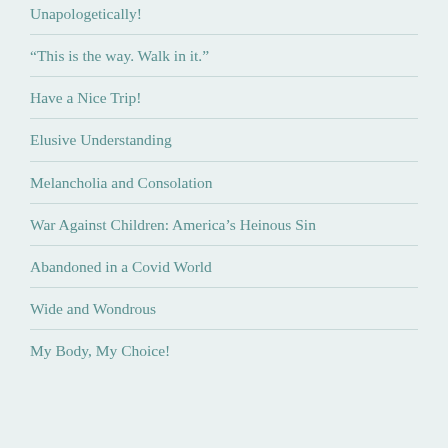Unapologetically!
“This is the way. Walk in it.”
Have a Nice Trip!
Elusive Understanding
Melancholia and Consolation
War Against Children: America’s Heinous Sin
Abandoned in a Covid World
Wide and Wondrous
My Body, My Choice!